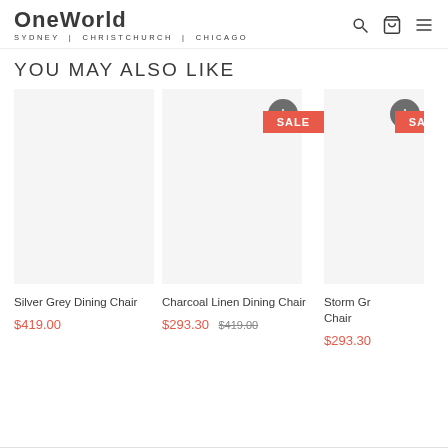One World Sydney | Christchurch | Chicago
YOU MAY ALSO LIKE
Silver Grey Dining Chair $419.00
Charcoal Linen Dining Chair $293.30 $419.00
Storm Gr... Chair $293.30